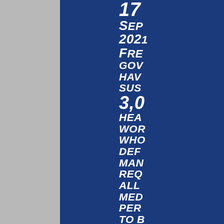17 SEP 2021 FREQUENTLY GOVERNMENTS HAVE SUSPENDED 3,000 HEALTHCARE WORKERS WHO DEFIED MANDATES REQUIRING ALL MEDICAL PERSONNEL TO BE VACCINATED